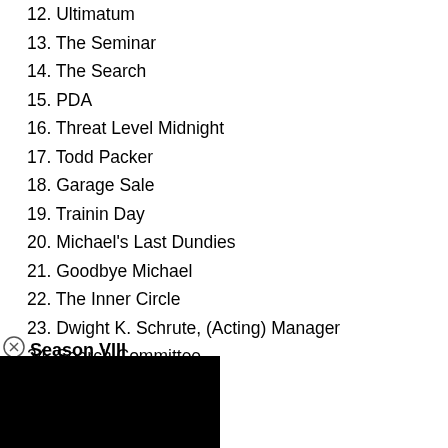12. Ultimatum
13. The Seminar
14. The Search
15. PDA
16. Threat Level Midnight
17. Todd Packer
18. Garage Sale
19. Trainin Day
20. Michael's Last Dundies
21. Goodbye Michael
22. The Inner Circle
23. Dwight K. Schrute, (Acting) Manager
24. Search Committee
Season VIII
[Figure (other): Black rectangle overlay/video player placeholder]